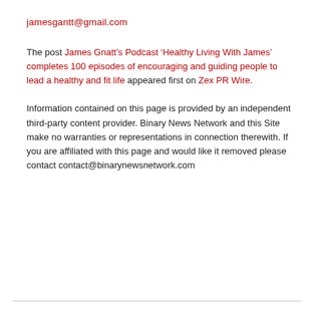jamesgantt@gmail.com
The post James Gnatt’s Podcast ‘Healthy Living With James’ completes 100 episodes of encouraging and guiding people to lead a healthy and fit life appeared first on Zex PR Wire.
Information contained on this page is provided by an independent third-party content provider. Binary News Network and this Site make no warranties or representations in connection therewith. If you are affiliated with this page and would like it removed please contact contact@binarynewsnetwork.com